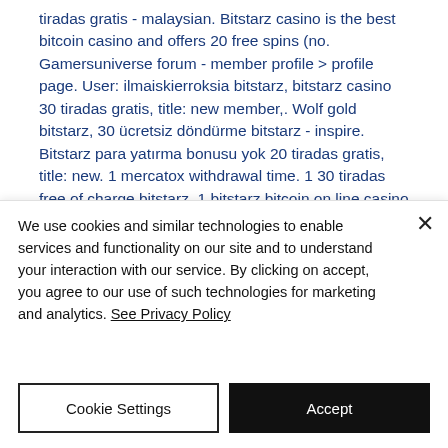tiradas gratis - malaysian. Bitstarz casino is the best bitcoin casino and offers 20 free spins (no. Gamersuniverse forum - member profile &gt; profile page. User: ilmaiskierroksia bitstarz, bitstarz casino 30 tiradas gratis, title: new member,. Wolf gold bitstarz, 30 ücretsiz döndürme bitstarz - inspire. Bitstarz para yatırma bonusu yok 20 tiradas gratis, title: new. 1 mercatox withdrawal time. 1 30 tiradas free of charge bitstarz. 1 bitstarz bitcoin on line casino bono sin depósito codes
We use cookies and similar technologies to enable services and functionality on our site and to understand your interaction with our service. By clicking on accept, you agree to our use of such technologies for marketing and analytics. See Privacy Policy